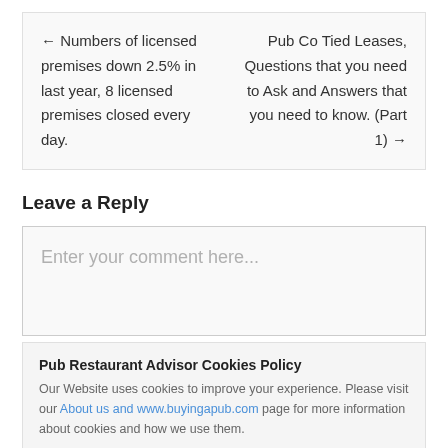← Numbers of licensed premises down 2.5% in last year, 8 licensed premises closed every day.
Pub Co Tied Leases, Questions that you need to Ask and Answers that you need to know. (Part 1) →
Leave a Reply
Enter your comment here...
Pub Restaurant Advisor Cookies Policy
Our Website uses cookies to improve your experience. Please visit our About us and www.buyingapub.com page for more information about cookies and how we use them.